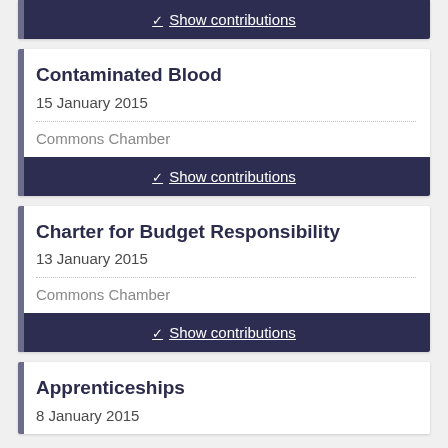Show contributions (partial top card)
Contaminated Blood
15 January 2015
Commons Chamber
Show contributions
Charter for Budget Responsibility
13 January 2015
Commons Chamber
Show contributions
Apprenticeships
8 January 2015